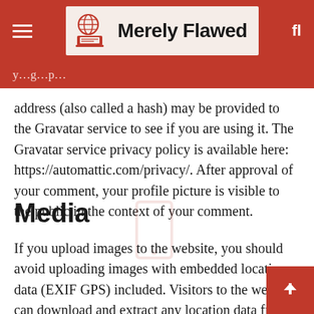Merely Flawed
address (also called a hash) may be provided to the Gravatar service to see if you are using it. The Gravatar service privacy policy is available here: https://automattic.com/privacy/. After approval of your comment, your profile picture is visible to the public in the context of your comment.
Media
If you upload images to the website, you should avoid uploading images with embedded location data (EXIF GPS) included. Visitors to the website can download and extract any location data from images on the website.